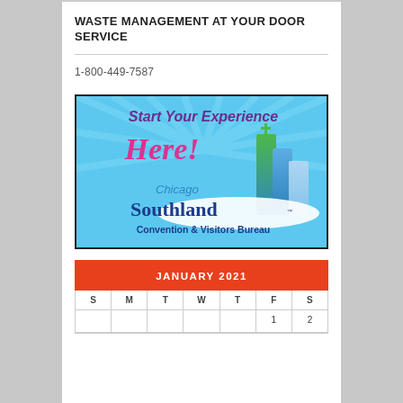WASTE MANAGEMENT AT YOUR DOOR SERVICE
1-800-449-7587
[Figure (illustration): Chicago Southland Convention & Visitors Bureau advertisement with text 'Start Your Experience Here!' on a light blue background with stylized building graphics.]
| S | M | T | W | T | F | S |
| --- | --- | --- | --- | --- | --- | --- |
|  |  |  |  |  | 1 | 2 |